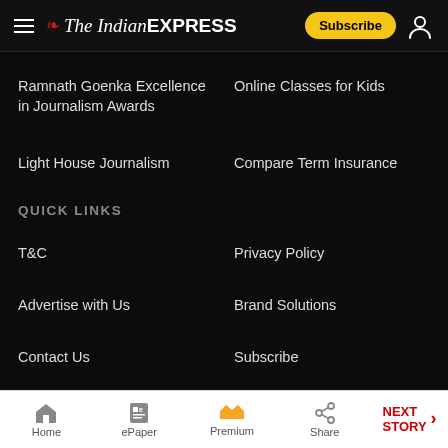The Indian Express
Ramnath Goenka Excellence in Journalism Awards
Online Classes for Kids
Light House Journalism
Compare Term Insurance
QUICK LINKS
T&C
Privacy Policy
Advertise with Us
Brand Solutions
Contact Us
Subscribe
Statutory provisions on reporting
This website follows the DNPA's
Home | ePaper | Premium | Share | NEXT STORY